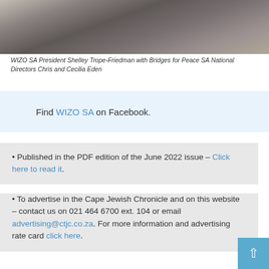[Figure (photo): Photo of WIZO SA President Shelley Trope-Friedman with Bridges for Peace SA National Directors Chris and Cecilia Eden, showing three people near a table]
WIZO SA President Shelley Trope-Friedman with Bridges for Peace SA National Directors Chris and Cecilia Eden
Find WIZO SA on Facebook.
Published in the PDF edition of the June 2022 issue – Click here to read it.
To advertise in the Cape Jewish Chronicle and on this website – contact us on 021 464 6700 ext. 104 or email advertising@ctjc.co.za. For more information and advertising rate card click here.